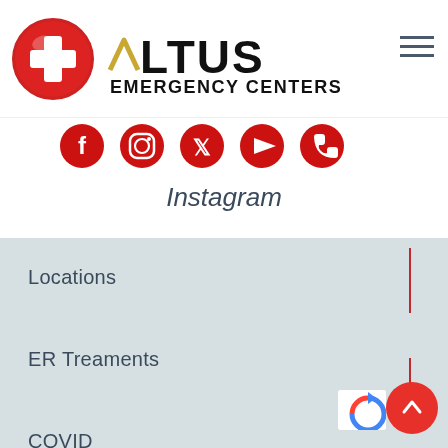[Figure (logo): Altus Emergency Centers logo with red cross circle icon and ALTUS EMERGENCY CENTERS text]
[Figure (infographic): Row of red social media icons: Facebook, Instagram, Twitter, YouTube, and one more]
Instagram
Locations
ER Treaments
COVID
Bill Pay
About Altus ER